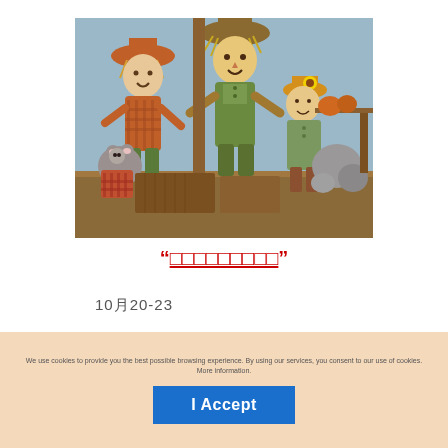[Figure (photo): A display of autumn/fall craft scarecrow dolls and figurines with straw hats, plaid clothing, and decorative pumpkins arranged on a wooden surface. Colorful harvest-themed handmade cloth dolls in orange, green, and earth tones.]
“□□□□□□□□□”
10月20-23
We use cookies to provide you the best possible browsing experience. By using our services, you consent to our use of cookies. More information.
I Accept